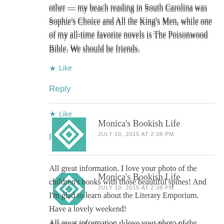other — my beach reading in South Carolina was Sophie's Choice and All the King's Men, while one of my all-time favorite novels is The Poisonwood Bible. We should be friends.
Like
Reply
Monica's Bookish Life
JULY 10, 2015 AT 2:38 PM
All great information. I love your photo of the children's books with those beautiful spines! And I'm glad to learn about the Literary Emporium. Have a lovely weekend!
Like